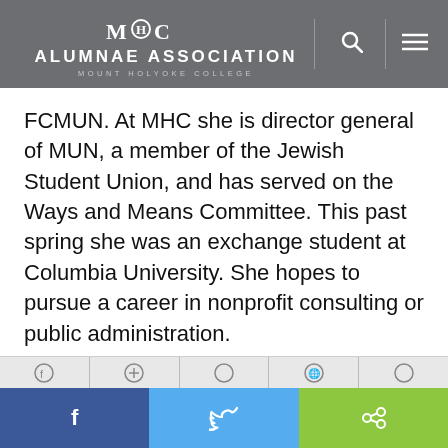MHC ALUMNAE ASSOCIATION MOUNT HOLYOKE COLLEGE
FCMUN. At MHC she is director general of MUN, a member of the Jewish Student Union, and has served on the Ways and Means Committee. This past spring she was an exchange student at Columbia University. She hopes to pursue a career in nonprofit consulting or public administration.
Lindsay Theobald '18
Major: English